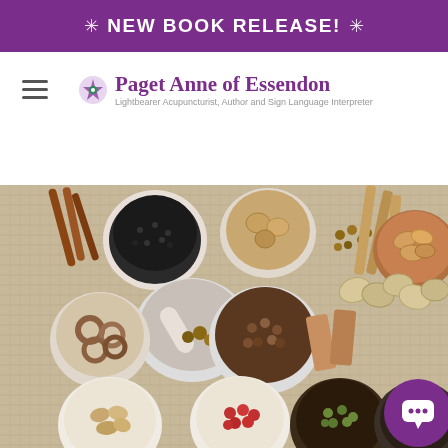✳ NEW BOOK RELEASE! ✳
[Figure (logo): Paget Anne of Essendon logo with decorative purple flower icon, title 'Paget Anne of Essendon' in purple serif font, subtitle 'Lightbearer Acupuncturist, Author and Sign Language Interpreter']
[Figure (photo): Overhead flat-lay photograph of various Chinese/herbal medicine ingredients in white ceramic bowls and a mortar and pestle on a burlap background: black seeds, dried mushrooms/fungi, cinnamon sticks, dried fruits, red berries, green leaves, root slices, bark pieces, and other dried herbs and spices]